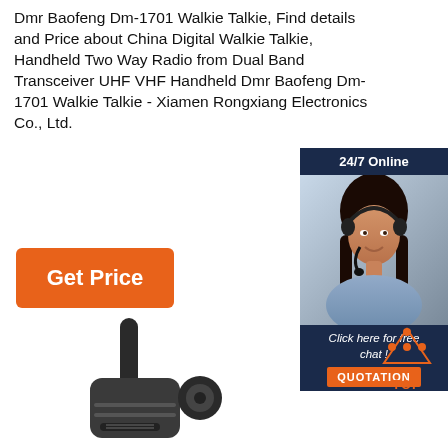Dmr Baofeng Dm-1701 Walkie Talkie, Find details and Price about China Digital Walkie Talkie, Handheld Two Way Radio from Dual Band Transceiver UHF VHF Handheld Dmr Baofeng Dm-1701 Walkie Talkie - Xiamen Rongxiang Electronics Co., Ltd.
[Figure (other): Orange 'Get Price' button]
[Figure (photo): 24/7 Online chat widget with a woman wearing a headset, dark navy background, 'Click here for free chat!' text and orange QUOTATION button]
[Figure (illustration): Orange 'TOP' button with dots arranged in triangle above text]
[Figure (photo): Partial photo of a walkie-talkie/radio device antenna and body, dark grey color]